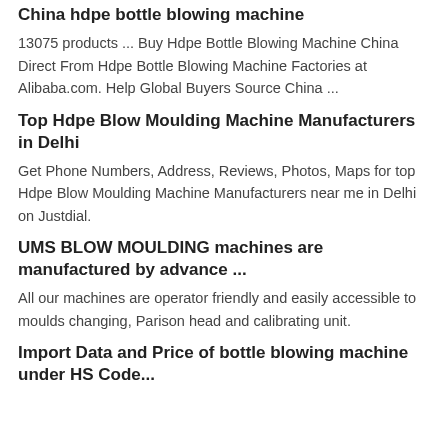China hdpe bottle blowing machine
13075 products ... Buy Hdpe Bottle Blowing Machine China Direct From Hdpe Bottle Blowing Machine Factories at Alibaba.com. Help Global Buyers Source China ...
Top Hdpe Blow Moulding Machine Manufacturers in Delhi
Get Phone Numbers, Address, Reviews, Photos, Maps for top Hdpe Blow Moulding Machine Manufacturers near me in Delhi on Justdial.
UMS BLOW MOULDING machines are manufactured by advance ...
All our machines are operator friendly and easily accessible to moulds changing, Parison head and calibrating unit.
Import Data and Price of bottle blowing machine under HS Code...